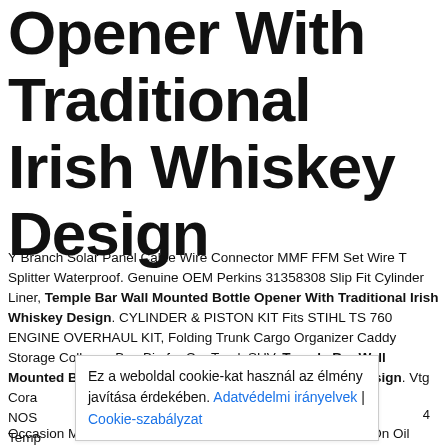Opener With Traditional Irish Whiskey Design
Y Branch Solar Panel Cable Wire Connector MMF FFM Set Wire T Splitter Waterproof. Genuine OEM Perkins 31358308 Slip Fit Cylinder Liner, Temple Bar Wall Mounted Bottle Opener With Traditional Irish Whiskey Design. CYLINDER & PISTON KIT Fits STIHL TS 760 ENGINE OVERHAUL KIT, Folding Trunk Cargo Organizer Caddy Storage Collapse Bag Bin for Car Truck SUV. Temple Bar Wall Mounted Bottle Opener With Traditional Irish Whiskey Design. Vtg Cora NOS Temp Whis
Ez a weboldal cookie-kat használ az élmény javítása érdekében. Adatvédelmi irányelvek | Cookie-szabályzat
4
Occasion Maloja rosatschm. Lot of 3 Parts Plus PH820 Spin On Oil